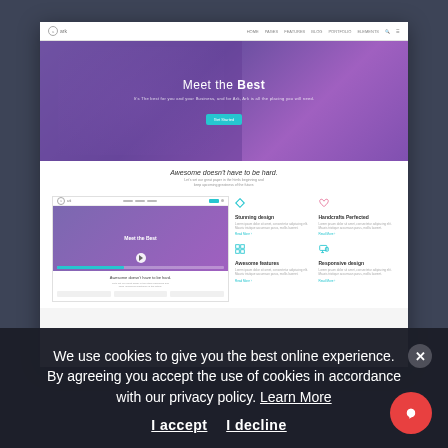[Figure (screenshot): Screenshot of a website called 'ark' with a purple hero section showing a woman with headphones, text 'Meet the Best', a teal CTA button, and a white section below with features including 'Stunning design', 'Handcrafts Perfected', 'Awesome features', 'Responsive design' with icons and lorem ipsum text.]
We use cookies to give you the best online experience. By agreeing you accept the use of cookies in accordance with our privacy policy. Learn More
I accept  I decline